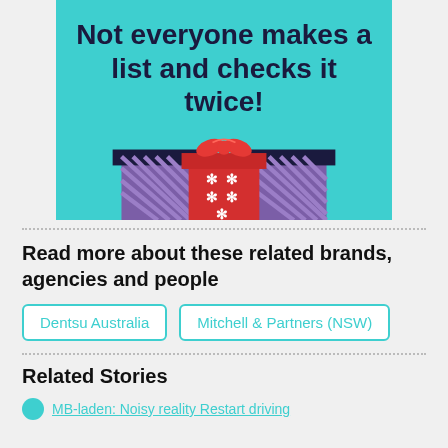[Figure (illustration): Teal/cyan background banner with bold dark navy text reading 'Not everyone makes a list and checks it twice!' and illustrated gift boxes below — a large red gift with white snowflake pattern and red bow in the center, flanked by two smaller purple striped gifts with dark tops.]
Read more about these related brands, agencies and people
Dentsu Australia
Mitchell & Partners (NSW)
Related Stories
MB-laden: Noisy reality Restart driving